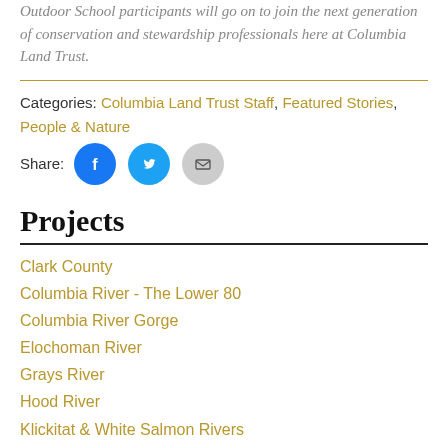Outdoor School participants will go on to join the next generation of conservation and stewardship professionals here at Columbia Land Trust.
Categories: Columbia Land Trust Staff, Featured Stories, People & Nature
Share:
Projects
Clark County
Columbia River - The Lower 80
Columbia River Gorge
Elochoman River
Grays River
Hood River
Klickitat & White Salmon Rivers